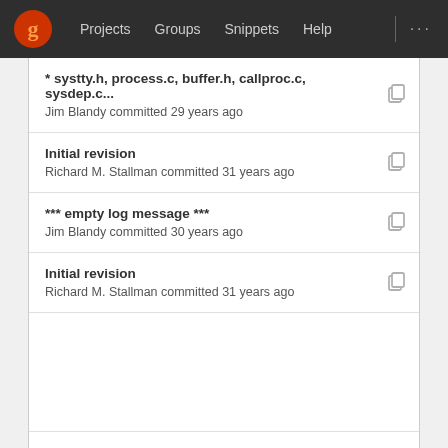Projects  Groups  Snippets  Help  ...
* systty.h, process.c, buffer.h, callproc.c, sysdep.c...
Jim Blandy committed 29 years ago
Initial revision
Richard M. Stallman committed 31 years ago
*** empty log message ***
Jim Blandy committed 30 years ago
Initial revision
Richard M. Stallman committed 31 years ago
* dired.c (Fdirectory_files): Compile the MATCH re...
Jim Blandy committed 29 years ago